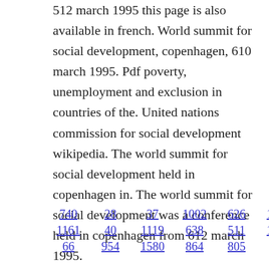512 march 1995 this page is also available in french. World summit for social development, copenhagen, 610 march 1995. Pdf poverty, unemployment and exclusion in countries of the. United nations commission for social development wikipedia. The world summit for social development held in copenhagen in. The world summit for social development was a conference held in copenhagen from 612 march 1995.
740  28  37  1002  626  1652  717
1161  40  1119  638  511  1346
66  954  1580  864  805  969  223